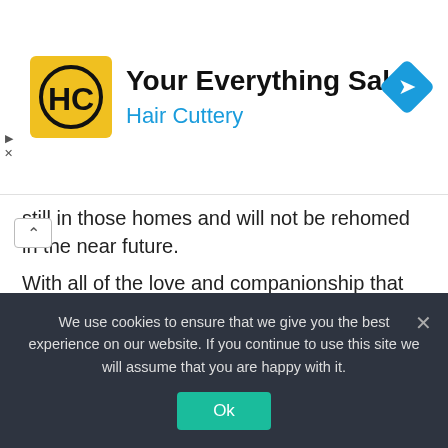[Figure (logo): Hair Cuttery ad banner with HC logo in yellow box, title 'Your Everything Salon', subtitle 'Hair Cuttery', and a blue navigation arrow diamond icon]
still in those homes and will not be rehomed in the near future.
With all of the love and companionship that we get from our furbabies, it can be hard for pet lovers to travel. Boarding an animal for multiple days can add up quickly, and it can be scary to invite a stranger into your home to care for your pet. However, the days of worrying about your pet while you travel are over thanks to Trusted Housesitters.
We use cookies to ensure that we give you the best experience on our website. If you continue to use this site we will assume that you are happy with it.